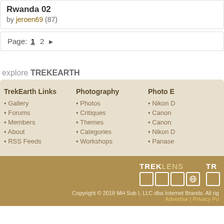Rwanda 02
by jeroen69 (87)
Page: 1 2 ▶
explore TREKEARTH
TrekEarth Links
Gallery
Forums
Members
About
RSS Feeds
Photography
Photos
Critiques
Themes
Categories
Workshops
Photo E
Nikon D
Canon
Canon
Nikon D
Panase
[Figure (logo): TREKLENS logo with four squares and globe icon, plus partial TR logo]
Copyright © 2018 MH Sub I, LLC dba Internet Brands. All rig
Advertise | Privacy Po